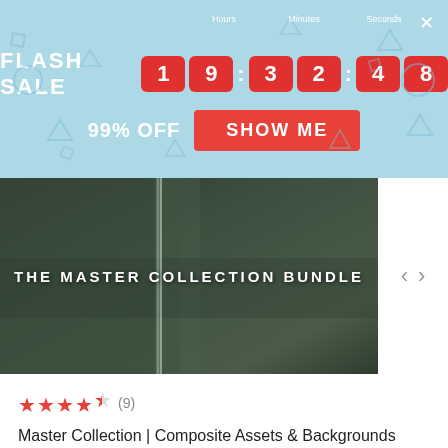FLASH SALE 19:32:48 Hours Minutes Seconds
99% OFF
SHOW ME
[Figure (photo): Dark green/grey architectural 3D render background with 'THE MASTER COLLECTION BUNDLE' text overlay, navigation arrows on right]
★★★★½ (9)
Master Collection | Composite Assets & Backgrounds
€121,21  €1.901,66
ON SALE
[Figure (logo): Dark circular logo/icon (ring shape) on light grey background]